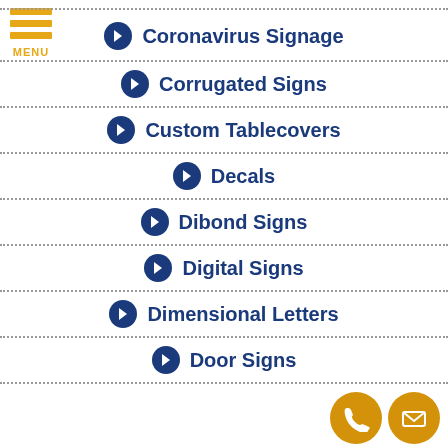MENU
Coronavirus Signage
Corrugated Signs
Custom Tablecovers
Decals
Dibond Signs
Digital Signs
Dimensional Letters
Door Signs